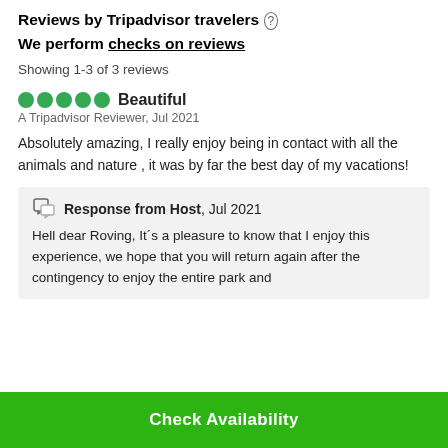Reviews by Tripadvisor travelers ⓘ
We perform checks on reviews
Showing 1-3 of 3 reviews
Beautiful
A Tripadvisor Reviewer, Jul 2021
Absolutely amazing, I really enjoy being in contact with all the animals and nature , it was by far the best day of my vacations!
Response from Host, Jul 2021
Hell dear Roving, It´s a pleasure to know that I enjoy this experience, we hope that you will return again after the contingency to enjoy the entire park and
Check Availability